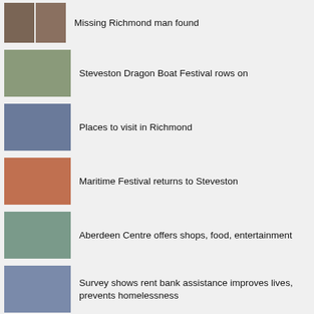Missing Richmond man found
Steveston Dragon Boat Festival rows on
Places to visit in Richmond
Maritime Festival returns to Steveston
Aberdeen Centre offers shops, food, entertainment
Survey shows rent bank assistance improves lives, prevents homelessness
Vancouver Airport Authority becomes a Living Wage Employer
TransLink introduces trip-planning touchscreens